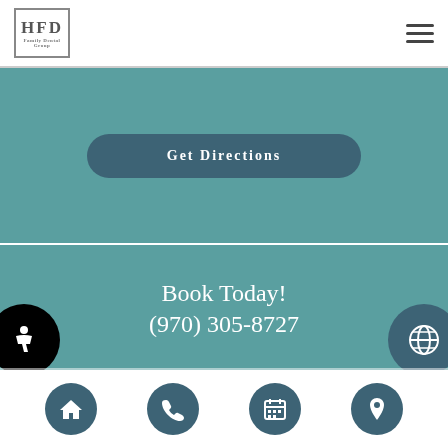HFD [logo] [hamburger menu]
Get Directions
Book Today!
(970) 305-8727
Request Appointment
[home icon] [phone icon] [calendar icon] [location icon]